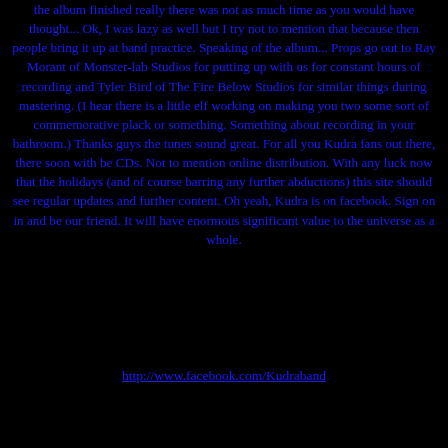the album finished really there was not as much time as you would have thought... Ok, I was lazy as well but I try not to mention that because then people bring it up at band practice. Speaking of the album... Props go out to Ray Morant of Monster-lab Studios for putting up with us for constant hours of recording and Tyler Bird of The Fire Below Studios for similar things during mastering. (I hear there is a little elf working on making you two some sort of commemorative plack or something. Something about recording in your bathroom.) Thanks guys the tunes sound great. For all you Kudra fans out there, there soon with be CDs. Not to mention online distribution. With any luck now that the holidays (and of course barring any further abductions) this site should see regular updates and further content. Oh yeah, Kudra is on facebook. Sign on in and be our friend. It will have enormous significant value to the universe as a whole.
http://www.facebook.com/Kudraband